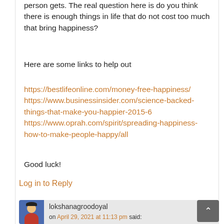person gets. The real question here is do you think there is enough things in life that do not cost too much that bring happiness?
Here are some links to help out
https://bestlifeonline.com/money-free-happiness/
https://www.businessinsider.com/science-backed-things-that-make-you-happier-2015-6
https://www.oprah.com/spirit/spreading-happiness-how-to-make-people-happy/all
Good luck!
Log in to Reply
lokshanagroodoyal
on April 29, 2021 at 11:13 pm said: